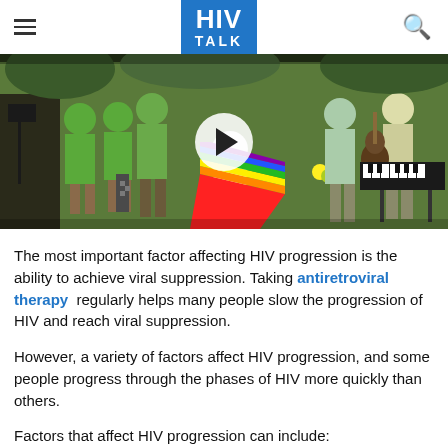HIV TALK
[Figure (photo): Outdoor music performance with children and adults in green t-shirts, a child in white shirt holding a rainbow flag, video play button overlay in center]
The most important factor affecting HIV progression is the ability to achieve viral suppression. Taking antiretroviral therapy regularly helps many people slow the progression of HIV and reach viral suppression.
However, a variety of factors affect HIV progression, and some people progress through the phases of HIV more quickly than others.
Factors that affect HIV progression can include: